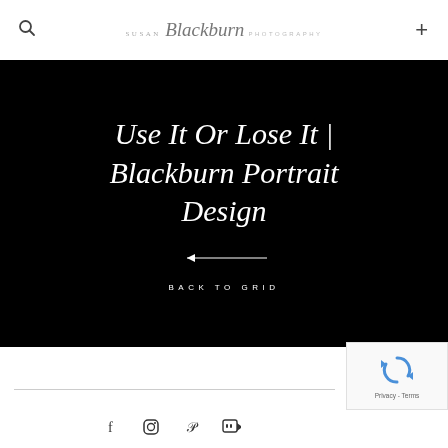Susan Blackburn Photography
Use It Or Lose It | Blackburn Portrait Design
BACK TO GRID
[Figure (logo): reCAPTCHA badge with spinning arrows icon and Privacy - Terms text]
Social icons: Facebook, Instagram, Pinterest, YouTube